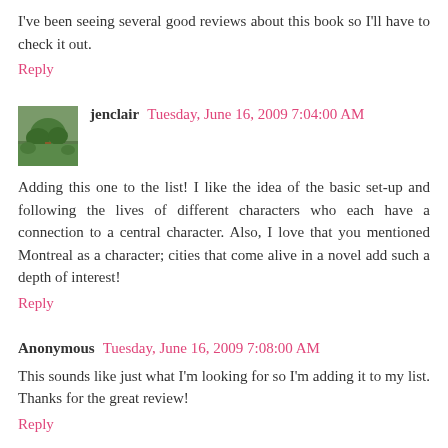I've been seeing several good reviews about this book so I'll have to check it out.
Reply
jenclair  Tuesday, June 16, 2009 7:04:00 AM
Adding this one to the list! I like the idea of the basic set-up and following the lives of different characters who each have a connection to a central character. Also, I love that you mentioned Montreal as a character; cities that come alive in a novel add such a depth of interest!
Reply
Anonymous  Tuesday, June 16, 2009 7:08:00 AM
This sounds like just what I'm looking for so I'm adding it to my list. Thanks for the great review!
Reply